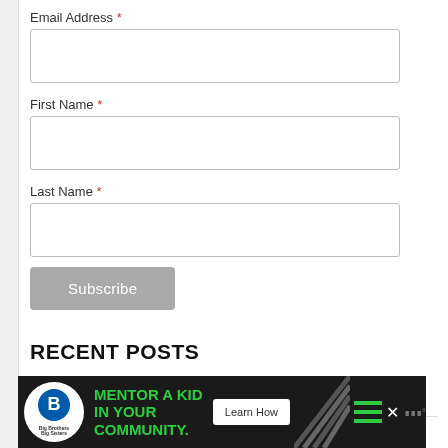Email Address *
First Name *
Last Name *
Subscribe
RECENT POSTS
Wave Stitch Tutorial with 10 Wave Crochet …
21 Crochet Baby Jacket Patterns
[Figure (infographic): Big Brothers Big Sisters advertisement banner: 'MENTOR A KID IN YOUR COMMUNITY.' with a Learn How button]